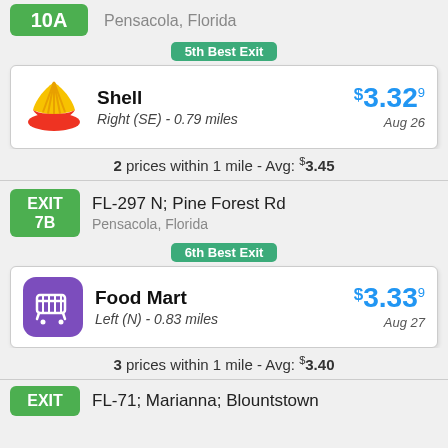10A  Pensacola, Florida
5th Best Exit
Shell  Right (SE) - 0.79 miles  $3.329  Aug 26
2 prices within 1 mile - Avg: $3.45
EXIT 7B  FL-297 N; Pine Forest Rd  Pensacola, Florida
6th Best Exit
Food Mart  Left (N) - 0.83 miles  $3.339  Aug 27
3 prices within 1 mile - Avg: $3.40
EXIT  FL-71; Marianna; Blountstown